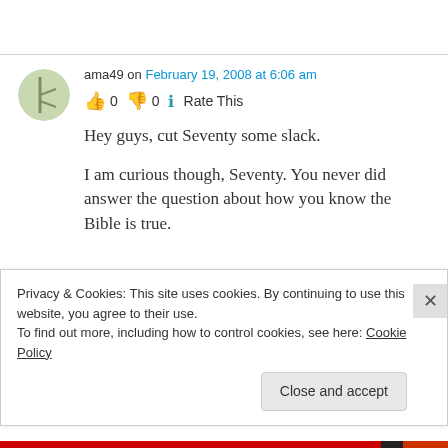ama49 on February 19, 2008 at 6:06 am
👍 0 👎 0 ℹ Rate This
Hey guys, cut Seventy some slack.
I am curious though, Seventy. You never did answer the question about how you know the Bible is true.
Privacy & Cookies: This site uses cookies. By continuing to use this website, you agree to their use. To find out more, including how to control cookies, see here: Cookie Policy
Close and accept